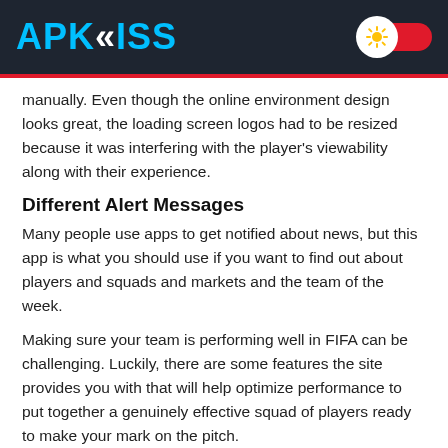APKKISS
manually. Even though the online environment design looks great, the loading screen logos had to be resized because it was interfering with the player's viewability along with their experience.
Different Alert Messages
Many people use apps to get notified about news, but this app is what you should use if you want to find out about players and squads and markets and the team of the week.
Making sure your team is performing well in FIFA can be challenging. Luckily, there are some features the site provides you with that will help optimize performance to put together a genuinely effective squad of players ready to make your mark on the pitch.